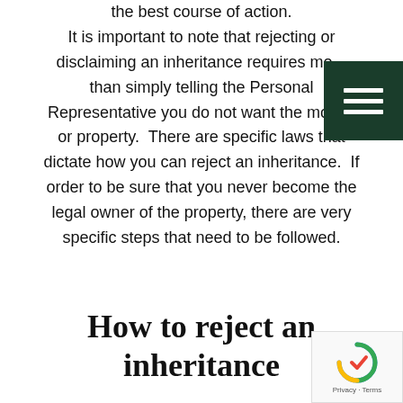the best course of action. It is important to note that rejecting or disclaiming an inheritance requires more than simply telling the Personal Representative you do not want the money or property. There are specific laws that dictate how you can reject an inheritance. If order to be sure that you never become the legal owner of the property, there are very specific steps that need to be followed.
How to reject an inheritance